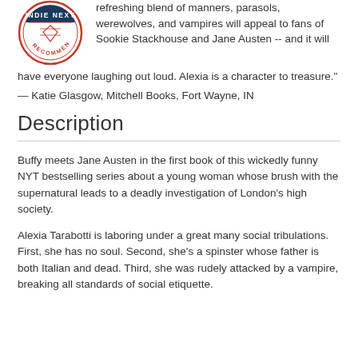refreshing blend of manners, parasols, werewolves, and vampires will appeal to fans of Sookie Stackhouse and Jane Austen -- and it will have everyone laughing out loud. Alexia is a character to treasure."
— Katie Glasgow, Mitchell Books, Fort Wayne, IN
Description
Buffy meets Jane Austen in the first book of this wickedly funny NYT bestselling series about a young woman whose brush with the supernatural leads to a deadly investigation of London's high society.
Alexia Tarabotti is laboring under a great many social tribulations. First, she has no soul. Second, she's a spinster whose father is both Italian and dead. Third, she was rudely attacked by a vampire, breaking all standards of social etiquette.